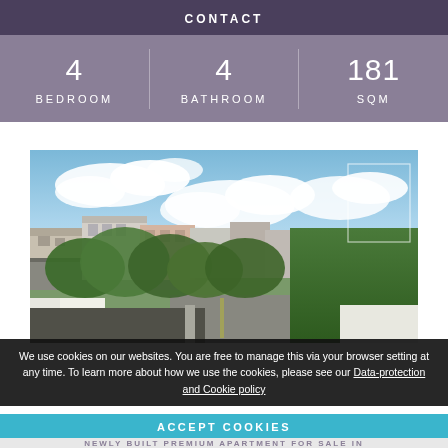CONTACT
| BEDROOM | BATHROOM | SQM |
| --- | --- | --- |
| 4 | 4 | 181 |
[Figure (photo): Rooftop view of a Central European city street lined with trees, with buildings and a cloudy sky in the background]
We use cookies on our websites. You are free to manage this via your browser setting at any time. To learn more about how we use the cookies, please see our Data-protection and Cookie policy
ACCEPT COOKIES
NEWLY BUILT PREMIUM APARTMENT FOR SALE IN